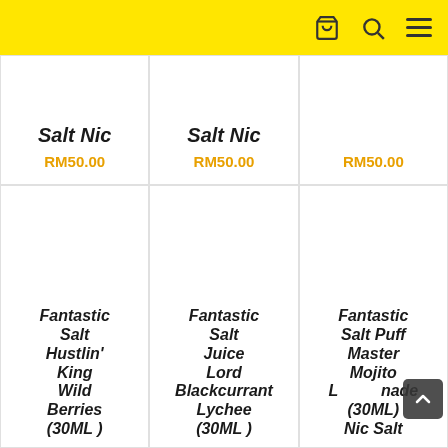Navigation header with cart, search, and menu icons
Salt Nic
RM50.00
Salt Nic
RM50.00
RM50.00
Fantastic Salt Hustlin' King Wild Berries (30ML)
Fantastic Salt Juice Lord Blackcurrant Lychee (30ML)
Fantastic Salt Puff Master Mojito Lemonade (30ML) Nic Salt